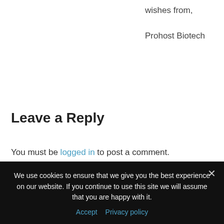wishes from,

Prohost Biotech
Leave a Reply
You must be logged in to post a comment.
Search ProhostBiotech
Search the site
We use cookies to ensure that we give you the best experience on our website. If you continue to use this site we will assume that you are happy with it.
Accept  Privacy policy